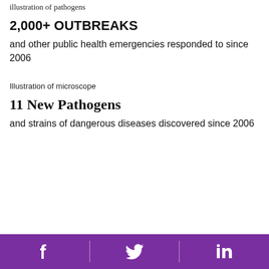illustration of pathogens
2,000+ OUTBREAKS
and other public health emergencies responded to since 2006
Illustration of microscope
11 New Pathogens
and strains of dangerous diseases discovered since 2006
Facebook | Twitter | LinkedIn